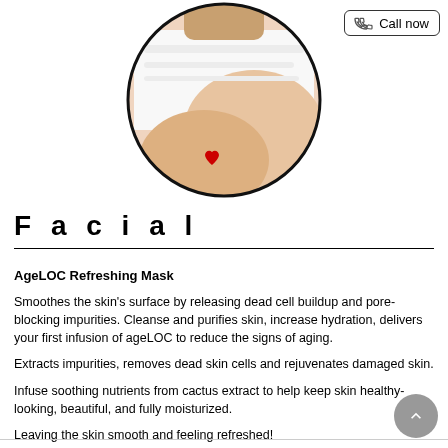[Figure (photo): Circular cropped photo of a person receiving a facial or spa treatment, lying on white towels. A small red heart decoration is visible.]
Facial
AgeLOC Refreshing Mask
Smoothes the skin's surface by releasing dead cell buildup and pore-blocking impurities. Cleanse and purifies skin, increase hydration, delivers your first infusion of ageLOC to reduce the signs of aging.
Extracts impurities, removes dead skin cells and rejuvenates damaged skin.
Infuse soothing nutrients from cactus extract to help keep skin healthy-looking, beautiful, and fully moisturized.
Leaving the skin smooth and feeling refreshed!